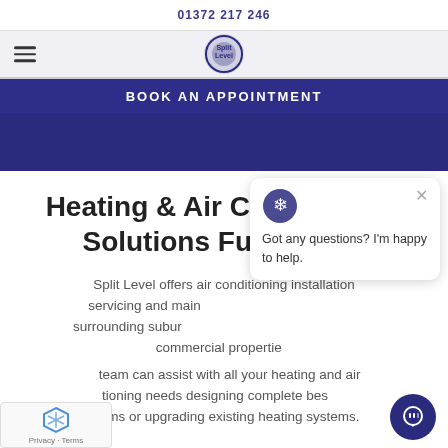01372 217 246
[Figure (logo): Split Level logo with gear icon]
BOOK AN APPOINTMENT
Heating & Air Conditioning Solutions Furzedown
Split Level offers air conditioning installation servicing and maintenance in Furzedown and surrounding suburbs. We work with residential and commercial properties...
...team can assist with all your heating and air conditioning needs designing complete bespoke systems or upgrading existing heating systems.
[Figure (screenshot): Live chat popup with snowflake/globe icon and text: Got any questions? I'm happy to help.]
[Figure (screenshot): reCAPTCHA widget with Privacy and Terms links]
[Figure (screenshot): Dark blue chat button icon in bottom right]